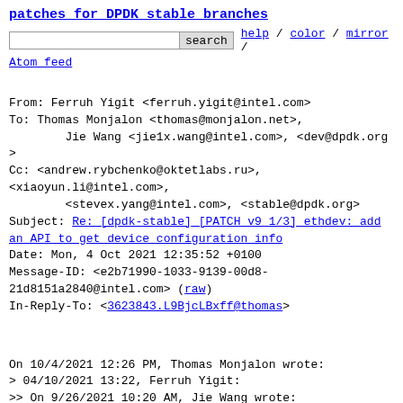patches for DPDK stable branches
search  help / color / mirror / Atom feed
From: Ferruh Yigit <ferruh.yigit@intel.com>
To: Thomas Monjalon <thomas@monjalon.net>,
        Jie Wang <jie1x.wang@intel.com>, <dev@dpdk.org>
Cc: <andrew.rybchenko@oktetlabs.ru>,
<xiaoyun.li@intel.com>,
        <stevex.yang@intel.com>, <stable@dpdk.org>
Subject: Re: [dpdk-stable] [PATCH v9 1/3] ethdev: add an API to get device configuration info
Date: Mon, 4 Oct 2021 12:35:52 +0100
Message-ID: <e2b71990-1033-9139-00d8-21d8151a2840@intel.com> (raw)
In-Reply-To: <3623843.L9BjcLBxff@thomas>
On 10/4/2021 12:26 PM, Thomas Monjalon wrote:
> 04/10/2021 13:22, Ferruh Yigit:
>> On 9/26/2021 10:20 AM, Jie Wang wrote:
>>> This patch adds a new API
"rte_eth_dev_conf_info_get()" to help users get
>>> device configuration info.
>>>
>>>
>>> Cc: stable@dpdk.org
>>>
>>
>> Since this is a new API, I think we can request it
to be backported.